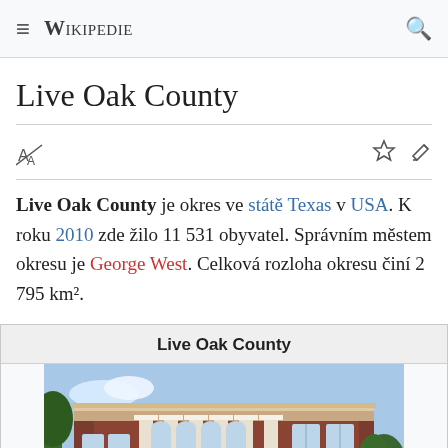≡ WIKIPEDIE 🔍
Live Oak County
Live Oak County je okres ve státě Texas v USA. K roku 2010 zde žilo 11 531 obyvatel. Správním městem okresu je George West. Celková rozloha okresu činí 2 795 km².
| Live Oak County |
| --- |
| [photo of courthouse] |
[Figure (photo): Photograph of Live Oak County courthouse building — a red brick building with white columns and arched windows]